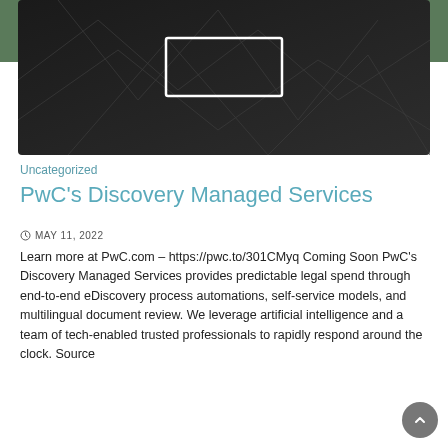[Figure (photo): Dark geometric polygon background image with a white rectangle outline in the center]
Uncategorized
PwC's Discovery Managed Services
MAY 11, 2022
Learn more at PwC.com – https://pwc.to/301CMyq Coming Soon PwC's Discovery Managed Services provides predictable legal spend through end-to-end eDiscovery process automations, self-service models, and multilingual document review. We leverage artificial intelligence and a team of tech-enabled trusted professionals to rapidly respond around the clock. Source